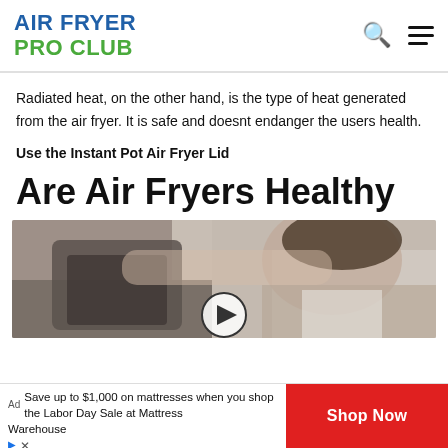AIR FRYER PRO CLUB
Radiated heat, on the other hand, is the type of heat generated from the air fryer. It is safe and doesnt endanger the users health.
Use the Instant Pot Air Fryer Lid
Are Air Fryers Healthy
[Figure (photo): Woman handling/opening an air fryer, with a video play button overlay at the bottom center]
Save up to $1,000 on mattresses when you shop the Labor Day Sale at Mattress Warehouse